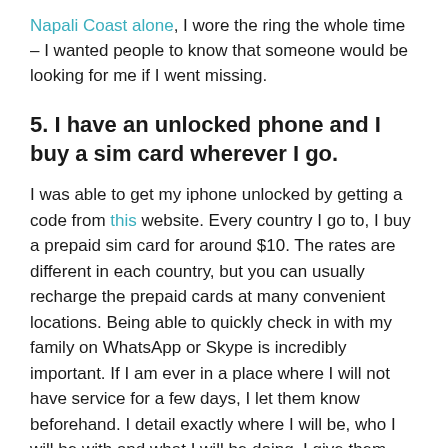Napali Coast alone, I wore the ring the whole time – I wanted people to know that someone would be looking for me if I went missing.
5. I have an unlocked phone and I buy a sim card wherever I go.
I was able to get my iphone unlocked by getting a code from this website. Every country I go to, I buy a prepaid sim card for around $10. The rates are different in each country, but you can usually recharge the prepaid cards at many convenient locations. Being able to quickly check in with my family on WhatsApp or Skype is incredibly important. If I am ever in a place where I will not have service for a few days, I let them know beforehand. I detail exactly where I will be, who I will be with and what I will be doing. I give them